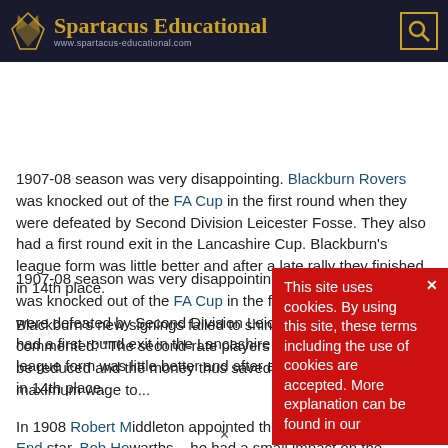Spartacus Educational — www.spartacus-educational.com
1907-08 season was very disappointing. Blackburn Rovers was knocked out of the FA Cup in the first round when they were defeated by Second Division Leicester Fosse. They also had a first round exit in the Lancashire Cup. Blackburn's league form was little better and after a late rally they finished in 14th place.
Blackburn's new signings failed to shine. The Blackburn Times commented: "The second-rate players might advantageously be reduced and the money thus saved utilized in paying the maximum wage to...
In 1908 Robert Middleton appointed the former Preston North End star, Bob Howarths... he had a small impact on the
[Figure (other): Cookie consent banner overlay: red background with text 'This site uses cookies. By using this site, these terms including the use of cookies are accepted. More explanation can be found in our' and an X close button]